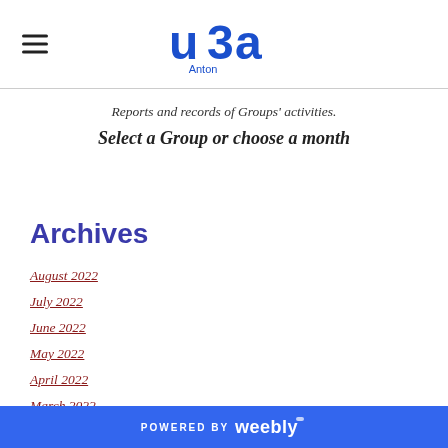u3a Anton
Reports and records of Groups' activities.
Select a Group or choose a month
Archives
August 2022
July 2022
June 2022
May 2022
April 2022
March 2022
POWERED BY weebly